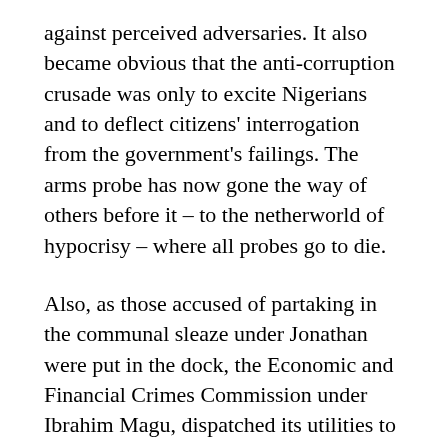against perceived adversaries. It also became obvious that the anti-corruption crusade was only to excite Nigerians and to deflect citizens' interrogation from the government's failings. The arms probe has now gone the way of others before it – to the netherworld of hypocrisy – where all probes go to die.
Also, as those accused of partaking in the communal sleaze under Jonathan were put in the dock, the Economic and Financial Crimes Commission under Ibrahim Magu, dispatched its utilities to securing conviction in the media instead of the court. The arraignment of ex-public officers was well-noised to whet the appetite of Nigerians who were hungry to see those who stole from them chalk up time and penitence in jail. But it ended there – just noise. Some of the ex-military officers whom the anti-graft agency charged for allegedly tucking into the $2.1 billion arms